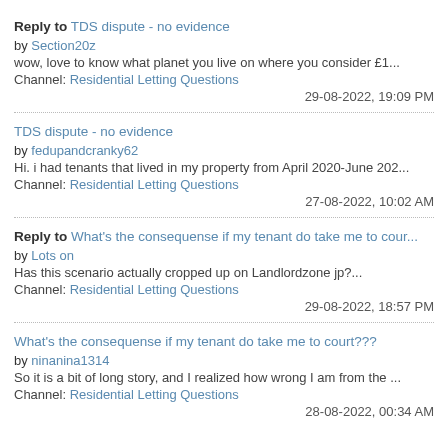Reply to TDS dispute - no evidence
by Section20z
wow, love to know what planet you live on where you consider £1...
Channel: Residential Letting Questions
29-08-2022, 19:09 PM
TDS dispute - no evidence
by fedupandcranky62
Hi. i had tenants that lived in my property from April 2020-June 202...
Channel: Residential Letting Questions
27-08-2022, 10:02 AM
Reply to What's the consequense if my tenant do take me to cour...
by Lots on
Has this scenario actually cropped up on Landlordzone jp?...
Channel: Residential Letting Questions
29-08-2022, 18:57 PM
What's the consequense if my tenant do take me to court???
by ninanina1314
So it is a bit of long story, and I realized how wrong I am from the ...
Channel: Residential Letting Questions
28-08-2022, 00:34 AM